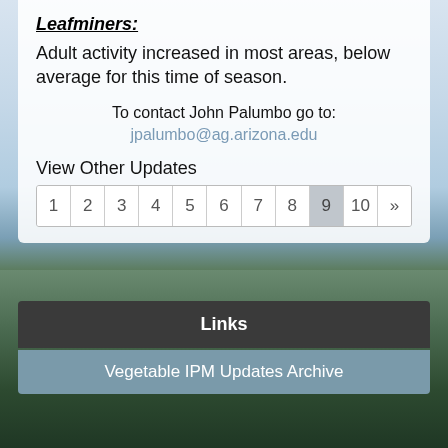Leafminers:
Adult activity increased in most areas, below average for this time of season.
To contact John Palumbo go to:
jpalumbo@ag.arizona.edu
View Other Updates
1 2 3 4 5 6 7 8 9 10 »
Back to Top
Links
Vegetable IPM Updates Archive